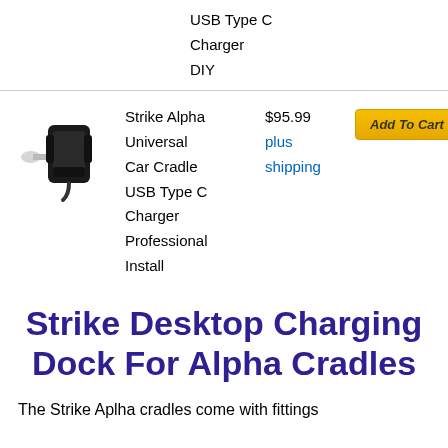USB Type C
Charger
DIY
[Figure (photo): Product image of Strike Alpha Universal Car Cradle with USB Type C Charger, showing a black car mount device]
Strike Alpha Universal Car Cradle USB Type C Charger Professional Install
$95.99
plus shipping
Add To Cart
Strike Desktop Charging Dock For Alpha Cradles
The Strike Aplha cradles come with fittings